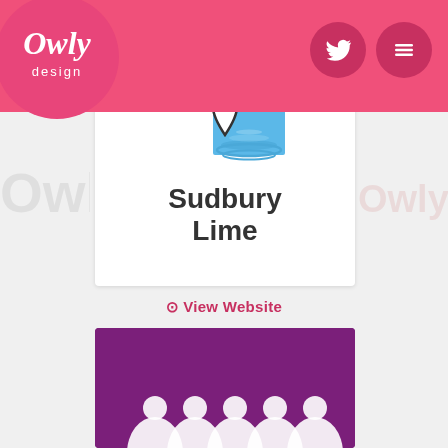[Figure (logo): Owly Design logo - pink oval with cursive white text 'Owly design']
[Figure (logo): Navigation bar icons: Twitter bird icon and hamburger menu icon in dark pink circles]
[Figure (logo): Sudbury Lime logo - water droplet with blue square and ripple waves, with bold text 'Sudbury Lime']
⊙ View Website
[Figure (illustration): Purple/magenta card with white arch shapes at bottom suggesting a people/crowd illustration]